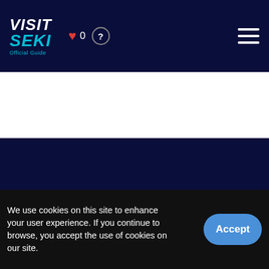VISIT SEKI Official Guide
[Figure (screenshot): White area below header, part of website layout]
[Figure (screenshot): Dark navy background section of website]
3 reasons to visit Seki
About Seki
Itineraries
Spots
Article
Access
We use cookies on this site to enhance your user experience. If you continue to browse, you accept the use of cookies on our site.